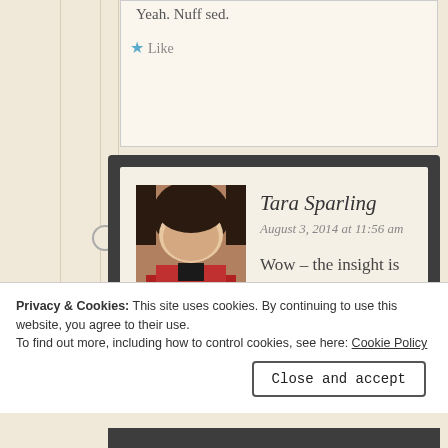Yeah. Nuff sed.
★ Like
Reply
Tara Sparling
August 3, 2014 at 11:56 am
Wow – the insight is amazing, when you consider that the readers who like your type of
Privacy & Cookies: This site uses cookies. By continuing to use this website, you agree to their use.
To find out more, including how to control cookies, see here: Cookie Policy
Close and accept